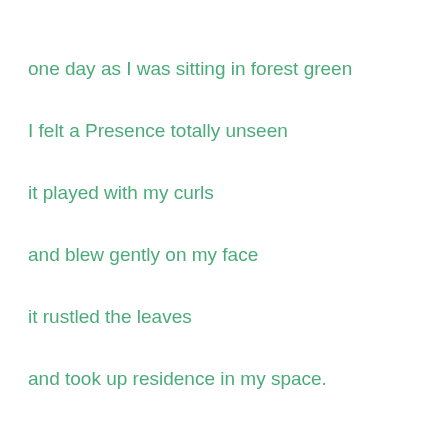one day as I was sitting in forest green
I felt a Presence totally unseen
it played with my curls
and blew gently on my face
it rustled the leaves
and took up residence in my space.